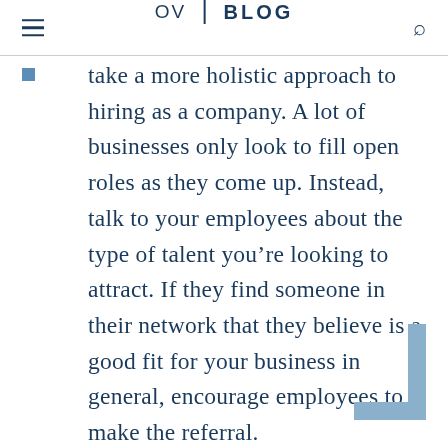OV | BLOG
take a more holistic approach to hiring as a company. A lot of businesses only look to fill open roles as they come up. Instead, talk to your employees about the type of talent you’re looking to attract. If they find someone in their network that they believe is a good fit for your business in general, encourage employees to make the referral.